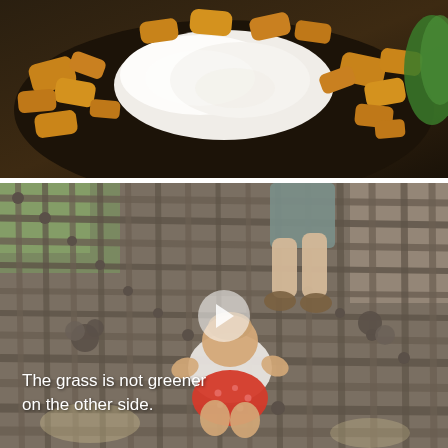[Figure (photo): Top-down close-up photo of food on a dark plate — golden crispy pieces (like fried chicken or cereal) around a white creamy topping, with a green element partially visible at the edge.]
[Figure (photo): A video thumbnail showing a toddler in a red polka-dot bottom and white top crawling on a large rope net/climbing structure, with an adult's legs visible ahead on the net. A white play button triangle is centered over the image.]
The grass is not greener
on the other side.